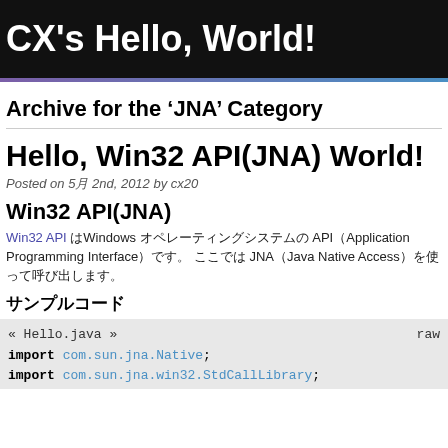CX's Hello, World!
Archive for the 'JNA' Category
Hello, Win32 API(JNA) World!
Posted on 5月 2nd, 2012 by cx20
Win32 API(JNA)
Win32 API はWindows オペレーティングシステムの APIApplication Programming Interfaceです。 ここでは JNAJava Native Accessを使って呼び出します。
サンプルコード
« Hello.java »   raw
import com.sun.jna.Native;
import com.sun.jna.win32.StdCallLibrary;